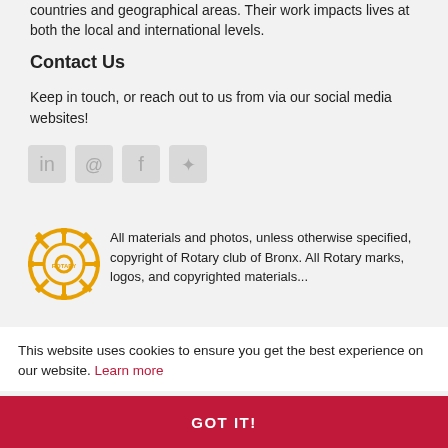countries and geographical areas. Their work impacts lives at both the local and international levels.
Contact Us
Keep in touch, or reach out to us from via our social media websites!
[Figure (illustration): Social media icon placeholders (LinkedIn, Twitter/X, Facebook, other) shown as faded grey boxes]
[Figure (logo): Rotary International gear wheel logo in gold/yellow]
All materials and photos, unless otherwise specified, copyright of Rotary club of Bronx. All Rotary marks, logos, and copyrighted materials...
This website uses cookies to ensure you get the best experience on our website. Learn more
GOT IT!